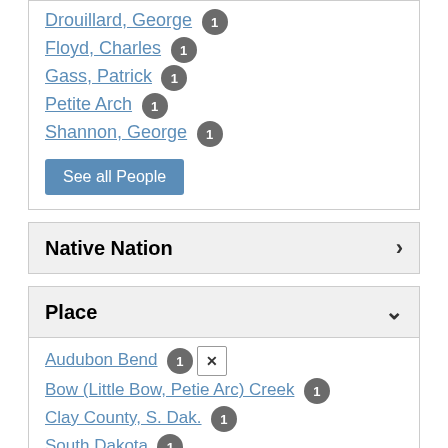Drouillard, George 1
Floyd, Charles 1
Gass, Patrick 1
Petite Arch 1
Shannon, George 1
See all People
Native Nation
Place
Audubon Bend 1 [x]
Bow (Little Bow, Petie Arc) Creek 1
Clay County, S. Dak. 1
South Dakota 1